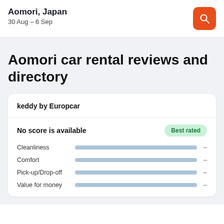Aomori, Japan
30 Aug – 6 Sep
Aomori car rental reviews and directory
keddy by Europcar
No score is available
Best rated
Cleanliness –
Comfort –
Pick-up/Drop-off –
Value for money –